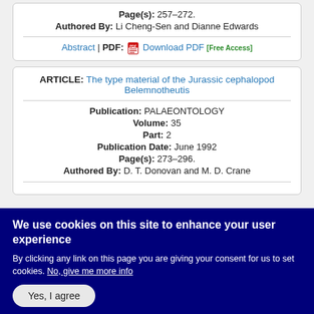Page(s): 257–272.
Authored By: Li Cheng-Sen and Dianne Edwards
Abstract | PDF: Download PDF [Free Access]
ARTICLE: The type material of the Jurassic cephalopod Belemnotheutis
Publication: PALAEONTOLOGY
Volume: 35
Part: 2
Publication Date: June 1992
Page(s): 273–296.
Authored By: D. T. Donovan and M. D. Crane
We use cookies on this site to enhance your user experience
By clicking any link on this page you are giving your consent for us to set cookies. No, give me more info
Yes, I agree